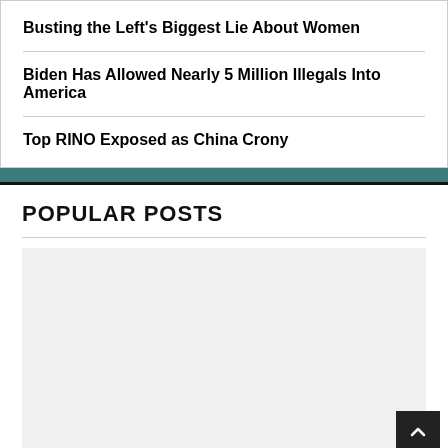Busting the Left's Biggest Lie About Women
Biden Has Allowed Nearly 5 Million Illegals Into America
Top RINO Exposed as China Crony
POPULAR POSTS
[Figure (photo): Large light gray placeholder image block below the Popular Posts section]